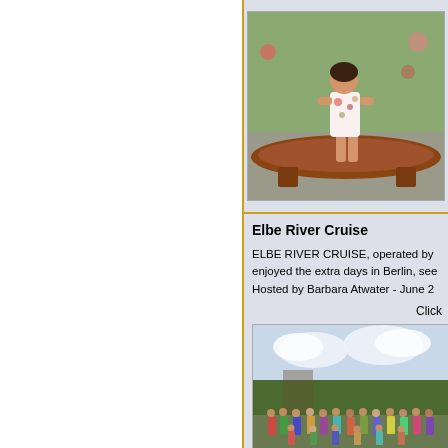[Figure (photo): A woman in a floral dress sitting on a wooden canoe or boat in a garden setting]
Elbe River Cruise
ELBE RIVER CRUISE, operated by enjoyed the extra days in Berlin, see Hosted by Barbara Atwater - June 2
Click
[Figure (photo): A group photo of cruise participants standing outdoors with trees and sky in background]